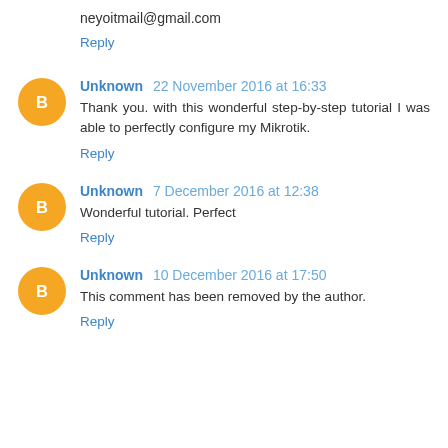neyoitmail@gmail.com
Reply
Unknown 22 November 2016 at 16:33
Thank you. with this wonderful step-by-step tutorial I was able to perfectly configure my Mikrotik.
Reply
Unknown 7 December 2016 at 12:38
Wonderful tutorial. Perfect
Reply
Unknown 10 December 2016 at 17:50
This comment has been removed by the author.
Reply